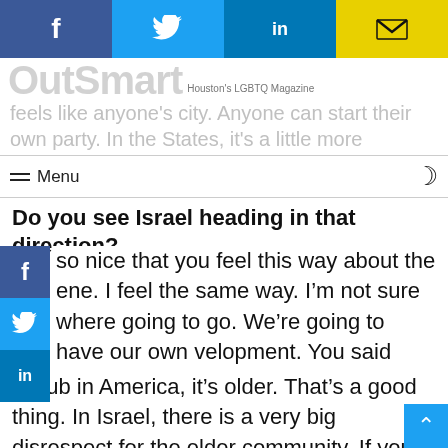[Figure (other): Social media share buttons bar at top: Facebook (blue), Twitter (light blue), LinkedIn (dark blue), Email (yellow)]
OutSmart Houston's LGBTQ Magazine
feels like anyone's city. Anyone can start their own party. In the States, it's a little more corporate and strict
Menu
Do you see Israel heading in that direction?
so nice that you feel this way about the ene. I feel the same way. I'm not sure where going to go. We're going to have our own velopment. You said before that if you go to a club in America, it's older. That's a good thing. In Israel, there is a very big disrespect for the elder community. If you are above 30, your life must end. I am being a cynic, but that is how it feels. It is nice for me to see in San Francisco an older community. It's nice that